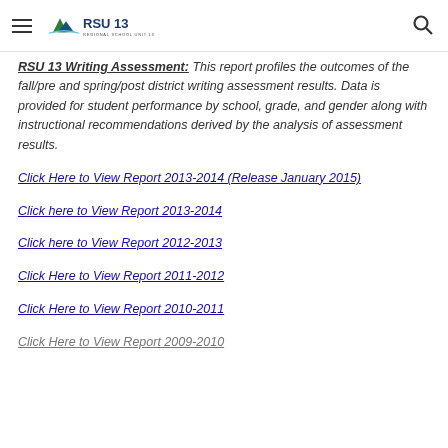RSU 13 Regional School Unit 13
RSU 13 Writing Assessment: This report profiles the outcomes of the fall/pre and spring/post district writing assessment results. Data is provided for student performance by school, grade, and gender along with instructional recommendations derived by the analysis of assessment results.
Click Here to View Report 2013-2014 (Release January 2015)
Click here to View Report 2013-2014
Click here to View Report 2012-2013
Click Here to View Report 2011-2012
Click Here to View Report 2010-2011
Click Here to View Report 2009-2010